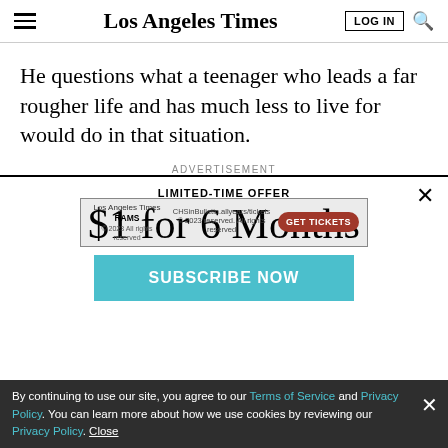Los Angeles Times
He questions what a teenager who leads a far rougher life and has much less to live for would do in that situation.
ADVERTISEMENT
LIMITED-TIME OFFER
$1 for 6 Months
SUBSCRIBE NOW
By continuing to use our site, you agree to our Terms of Service and Privacy Policy. You can learn more about how we use cookies by reviewing our Privacy Policy. Close